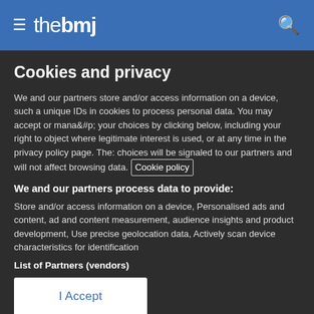≡ thebmj 🔍
Cookies and privacy
We and our partners store and/or access information on a device, such as unique IDs in cookies to process personal data. You may accept or manage your choices by clicking below, including your right to object where legitimate interest is used, or at any time in the privacy policy page. These choices will be signaled to our partners and will not affect browsing data. Cookie policy
We and our partners process data to provide:
Store and/or access information on a device, Personalised ads and content, ad and content measurement, audience insights and product development, Use precise geolocation data, Actively scan device characteristics for identification
List of Partners (vendors)
I Accept